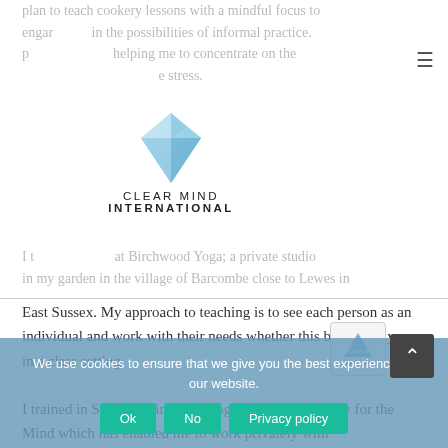plan to teach cookery lessons with a mindful focus to engage in the possibilities of informal practice. p helping me to concentrate on the e stress.
[Figure (logo): Clear Mind International logo: blue diamond gem above text 'CLEAR MIND INTERNATIONAL']
I t at Birchwood Yoga; a private studio in my garden in the village of Barcombe close to Lewes in East Sussex. My approach to teaching is to see each person as an individual and work with their needs whether this be privately or in a class setting.
I trained in Scaravelli inspired Yoga and Yoga Therapy for the Mind which has enabled me to work privately with
we use courage resilience. we have the be Mindfulness was a part of this training but I wanted to delve deeper, taking a clear and a mindfulness
We use cookies to ensure that we give you the best experience on our website.
Ok
No
Privacy policy